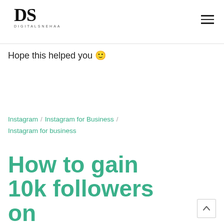DS DIGITALSNEHAA
Hope this helped you 🙂
Instagram / Instagram for Business / Instagram for business
How to gain 10k followers on